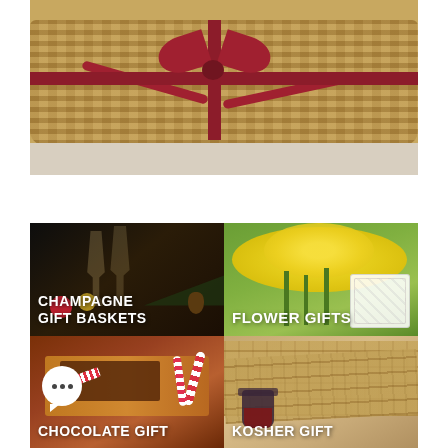[Figure (photo): A wicker gift basket with a dark red ribbon and bow on a light surface, top banner image]
[Figure (photo): Champagne flutes with Christmas ornaments and decorations in dark background, labeled CHAMPAGNE GIFT BASKETS]
[Figure (photo): Yellow daffodil flowers with a white decorative box on green background, labeled FLOWER GIFTS]
[Figure (photo): Chocolate bark with candy canes on wooden board, with chat bubble icon, labeled CHOCOLATE GIFT]
[Figure (photo): Matzah crackers with a dark cup on beige background, labeled KOSHER GIFT]